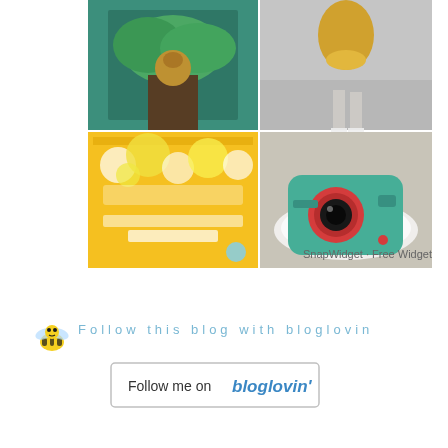[Figure (photo): 2x2 Instagram photo grid widget showing four photos: top-left appears to be a tropical bird/parrot art piece on wood background, top-right shows a person in yellow jacket from above, bottom-left shows The Scrapbooking Queen blog website screenshot with yellow floral header, bottom-right shows a teal toy camera on a white plate]
SnapWidget · Free Widget
[Figure (illustration): Small cartoon bee icon]
Follow this blog with bloglovin
[Figure (illustration): Follow me on bloglovin' button]